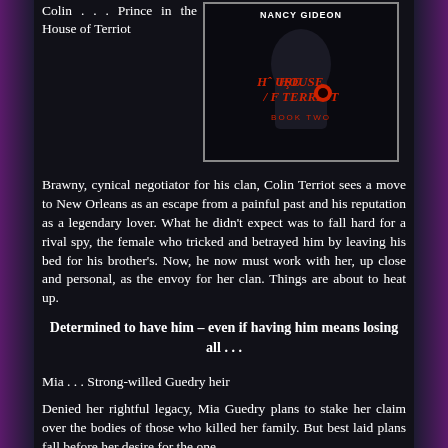Colin . . . Prince in the House of Terriot
[Figure (photo): Book cover for 'House of Terriot Book Two' by Nancy Gideon, dark background with red stylized text and a flame/creature logo]
Brawny, cynical negotiator for his clan, Colin Terriot sees a move to New Orleans as an escape from a painful past and his reputation as a legendary lover. What he didn't expect was to fall hard for a rival spy, the female who tricked and betrayed him by leaving his bed for his brother's. Now, he now must work with her, up close and personal, as the envoy for her clan. Things are about to heat up.
Determined to have him – even if having him means losing all . . .
Mia . . . Strong-willed Guedry heir
Denied her rightful legacy, Mia Guedry plans to stake her claim over the bodies of those who killed her family. But best laid plans fall before her desire for the one